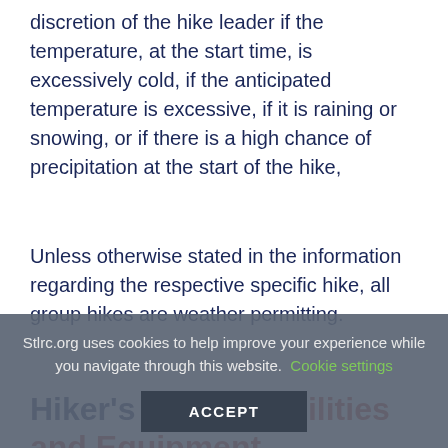discretion of the hike leader if the temperature, at the start time, is excessively cold, if the anticipated temperature is excessive, if it is raining or snowing, or if there is a high chance of precipitation at the start of the hike,
Unless otherwise stated in the information regarding the respective specific hike, all group hikes are weather permitting.
Hiker's Responsibilities and Equipment
Stlrc.org uses cookies to help improve your experience while you navigate through this website. Cookie settings ACCEPT